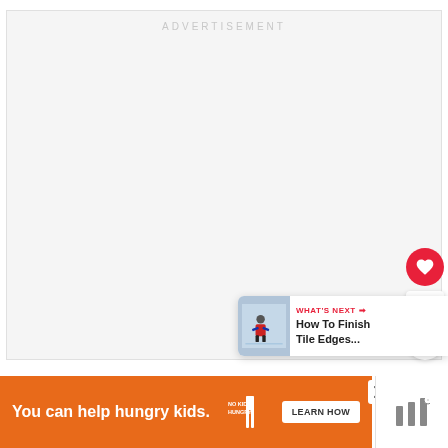ADVERTISEMENT
[Figure (illustration): Heart/like button (red circle with white heart icon), like count showing 3, and share button (white circle with share icon)]
[Figure (infographic): What's Next card with thumbnail image of person on ice/snow, label WHAT'S NEXT with arrow, and title text How To Finish Tile Edges...]
[Figure (infographic): Bottom advertisement banner: orange background with text 'You can help hungry kids.' and No Kid Hungry logo with LEARN HOW button. Close X button visible. Right side shows mute icon.]